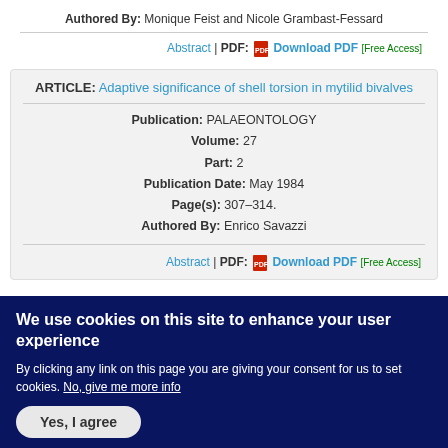Authored By: Monique Feist and Nicole Grambast-Fessard
Abstract | PDF: Download PDF [Free Access]
ARTICLE: Adaptive significance of shell torsion in mytilid bivalves
Publication: PALAEONTOLOGY
Volume: 27
Part: 2
Publication Date: May 1984
Page(s): 307–314.
Authored By: Enrico Savazzi
Abstract | PDF: Download PDF [Free Access]
We use cookies on this site to enhance your user experience
By clicking any link on this page you are giving your consent for us to set cookies. No, give me more info
Yes, I agree